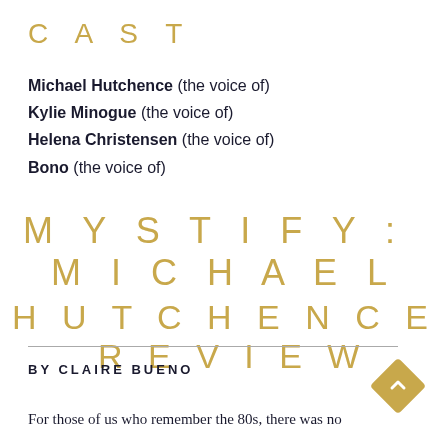CAST
Michael Hutchence (the voice of)
Kylie Minogue (the voice of)
Helena Christensen (the voice of)
Bono (the voice of)
MYSTIFY: MICHAEL HUTCHENCE REVIEW
BY CLAIRE BUENO
For those of us who remember the 80s, there was no